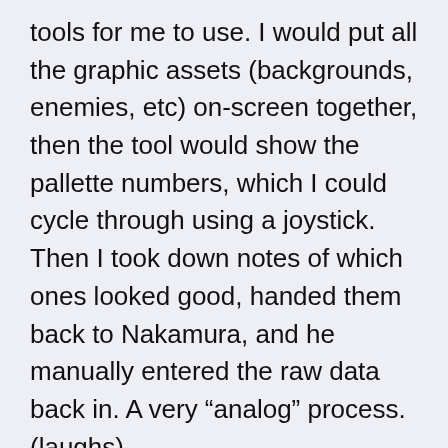tools for me to use. I would put all the graphic assets (backgrounds, enemies, etc) on-screen together, then the tool would show the pallette numbers, which I could cycle through using a joystick. Then I took down notes of which ones looked good, handed them back to Nakamura, and he manually entered the raw data back in. A very “analog” process. (laughs)
You know how in Rayforce, there are two sets of sprites for the enemies: one for when they’re in the distance, and one for when they ascend to the foreground level? We actually used different color palettes for the two—it not only looks more distinct, but…